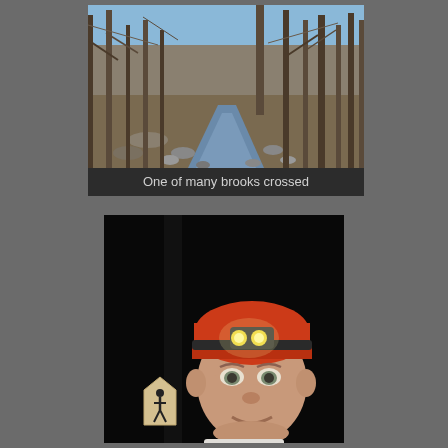[Figure (photo): Outdoor photograph of a small brook or stream running through a bare winter forest. Leafless trees line both sides of the rocky stream. Blue sky visible through the canopy. Brown leaf litter and rocks on the stream banks.]
One of many brooks crossed
[Figure (photo): Night-time selfie photograph of a man wearing an orange/red beanie hat and a headlamp with bright LED lights. The background is very dark. A trail marker sign (hiker silhouette) is visible in the lower left of the image.]